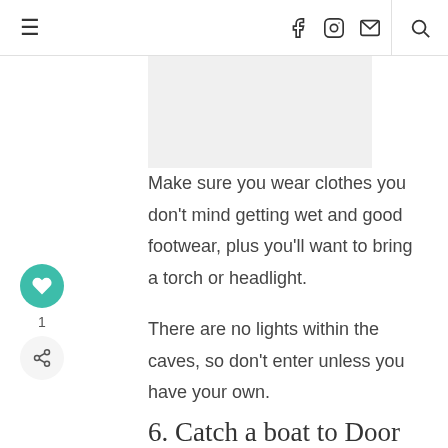≡  f  [instagram]  [mail]  |  [search]
[Figure (other): Gray advertisement placeholder box]
Make sure you wear clothes you don't mind getting wet and good footwear, plus you'll want to bring a torch or headlight.

There are no lights within the caves, so don't enter unless you have your own.
6. Catch a boat to Door